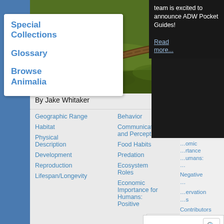[Figure (screenshot): Screenshot of Animal Diversity Web page showing a western terrestrial garter snake (Thamnophis elegans). The page shows navigation on the left (Special Collections, Glossary, Browse Animalia), two photos of a snake, author attribution 'By Jake Whitaker', a table of contents with links (Geographic Range, Habitat, Physical Description, Development, Reproduction, Lifespan/Longevity, Behavior, Communication and Perception, Food Habits, Predation, Ecosystem Roles, Economic Importance for Humans: Positive, and right-column links), an Additional Information box with links to BioKIDS Critter Catalog and Encyclopedia of Life, a dark popup promoting ADW Pocket Guides with a 'Read more...' link, a search box showing 'Sea' with a search icon, a Taxon dropdown, Explore Data @ Quaardvark link, a Search Guide link, and the beginning of the Geographic Range section with 'Thamnophis elegans, the western terrestrial garter snake'.]